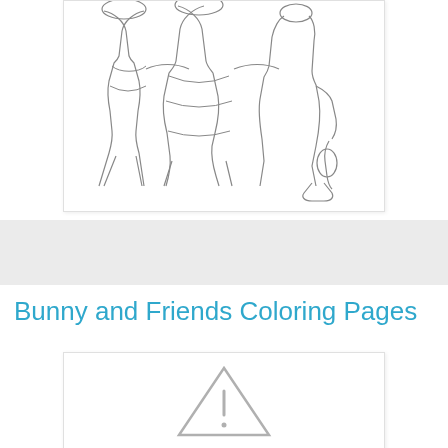[Figure (illustration): A coloring page outline drawing showing cartoon characters (figures with large bodies) hugging or standing together, rendered in black line art on white background.]
Bunny and Friends Coloring Pages
[Figure (illustration): A partially visible coloring page thumbnail showing a triangular warning/caution icon outline in gray on white background.]